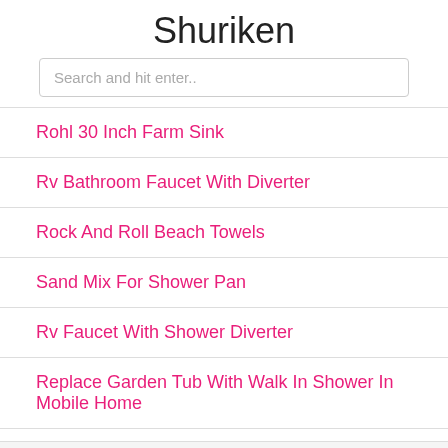Shuriken
Search and hit enter..
Rohl 30 Inch Farm Sink
Rv Bathroom Faucet With Diverter
Rock And Roll Beach Towels
Sand Mix For Shower Pan
Rv Faucet With Shower Diverter
Replace Garden Tub With Walk In Shower In Mobile Home
Dmca   Contact   Privacy Policy   Copyright